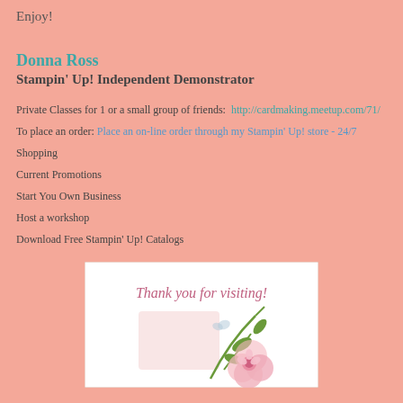Enjoy!
Donna Ross
Stampin' Up! Independent Demonstrator
Private Classes for 1 or a small group of friends:  http://cardmaking.meetup.com/71/
To place an order: Place an on-line order through my Stampin' Up! store - 24/7
Shopping
Current Promotions
Start You Own Business
Host a workshop
Download Free Stampin' Up! Catalogs
[Figure (illustration): Thank you for visiting banner with pink flowers and green stems on white background]